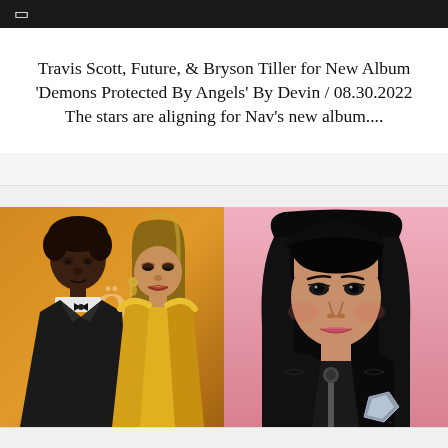Travis Scott, Future, & Bryson Tiller for New Album 'Demons Protected By Angels' By Devin / 08.30.2022 The stars are aligning for Nav's new album....
[Figure (photo): Two side-by-side celebrity photos. Left: a man in a tuxedo and a woman in a yellow dress posing against an orange background with partial text 'OR'. Right: a woman with long black hair and bangs in a black lace outfit against a pink background, holding an award.]